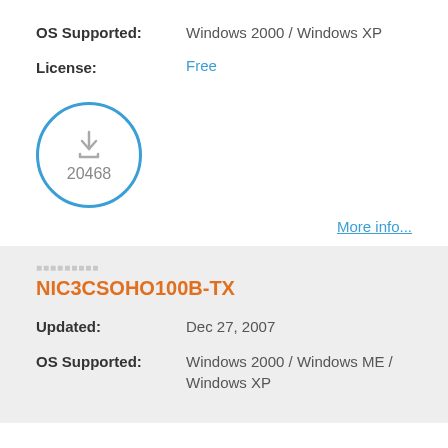OS Supported: Windows 2000 / Windows XP
License: Free
[Figure (infographic): Download count circle icon showing 20468 downloads, with a download arrow icon inside a blue circle border]
More info...
NIC3CSOHO100B-TX
Updated: Dec 27, 2007
OS Supported: Windows 2000 / Windows ME / Windows XP